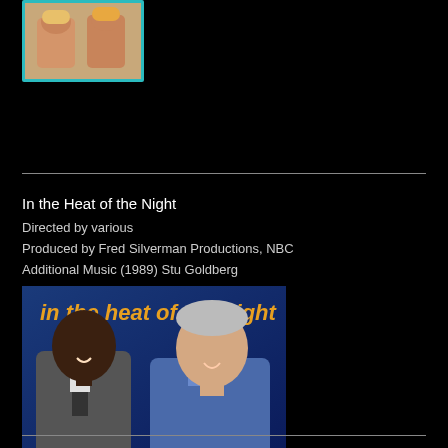[Figure (photo): Small photo at top-left showing two women, appears to be a TV show promotional image with a teal/blue border]
[Figure (photo): Promotional image for 'In the Heat of the Night' TV show featuring two men (one Black, one white with grey hair in a blue shirt) against a blue background, with the show title in italic orange text at the top]
In the Heat of the Night
Directed by various
Produced by Fred Silverman Productions, NBC
Additional Music (1989) Stu Goldberg